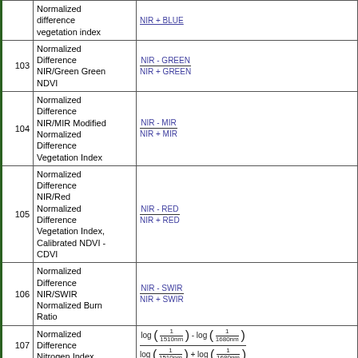| # | Name | Formula |
| --- | --- | --- |
|  | Normalized difference vegetation index | NIR - BLUE / NIR + BLUE |
| 103 | Normalized Difference NIR/Green Green NDVI | NIR - GREEN / NIR + GREEN |
| 104 | Normalized Difference NIR/MIR Modified Normalized Difference Vegetation Index | NIR - MIR / NIR + MIR |
| 105 | Normalized Difference NIR/Red Normalized Difference Vegetation Index, Calibrated NDVI - CDVI | NIR - RED / NIR + RED |
| 106 | Normalized Difference NIR/SWIR Normalized Burn Ratio | NIR - SWIR / NIR + SWIR |
| 107 | Normalized Difference Nitrogen Index | log(1/1510nm) - log(1/1680nm) / log(1/1510nm) + log(1/1680nm) |
| 108 | Normalized Difference Red/Green Redness Index | R - G / R + G |
|  | Normalized |  |